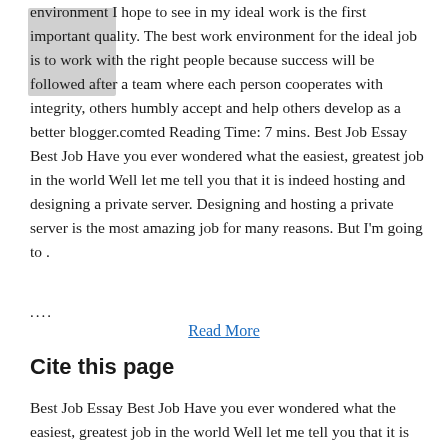environment I hope to see in my ideal work is the first important quality. The best work environment for the ideal job is to work with the right people because success will be followed after a team where each person cooperates with integrity, others humbly accept and help others develop as a better blogger.comted Reading Time: 7 mins. Best Job Essay Best Job Have you ever wondered what the easiest, greatest job in the world Well let me tell you that it is indeed hosting and designing a private server. Designing and hosting a private server is the most amazing job for many reasons. But I'm going to .
....
Read More
Cite this page
Best Job Essay Best Job Have you ever wondered what the easiest, greatest job in the world Well let me tell you that it is indeed hosting and designing a private server. Designing and hosting a private server is the most amazing job for